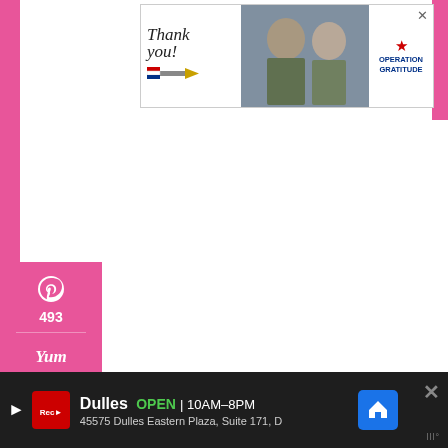[Figure (photo): Advertisement banner: 'Thank you!' with American flag pencil, military personnel photo, and Operation Gratitude logo with close button]
[Figure (infographic): Social media share sidebar with pink background showing Pinterest (493), Yum, Facebook (522), Twitter (7) share buttons]
1.0K SHARES
If you've never had chocolate crinkles before,
they're an amazing chocolate cookie with a soft
[Figure (screenshot): Bottom advertisement: Dulles store OPEN 10AM-8PM, 45575 Dulles Eastern Plaza, Suite 171, D — with navigation icon and close button, Mediavine logo]
[Figure (logo): Mediavine logo (III°) in gray, bottom right]